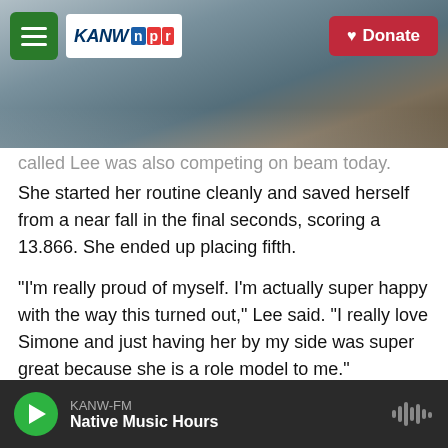KANW NPR | Donate
[Figure (photo): Mountain landscape with cloudy sky, background photo behind navigation bar]
called Lee was also competing on beam today. She started her routine cleanly and saved herself from a near fall in the final seconds, scoring a 13.866. She ended up placing fifth.
"I'm really proud of myself. I'm actually super happy with the way this turned out," Lee said. "I really love Simone and just having her by my side was super great because she is a role model to me."
Biles opens up about the difficulty of withdrawing
"It wasn't easy pulling out of all those competitions
KANW-FM Native Music Hours